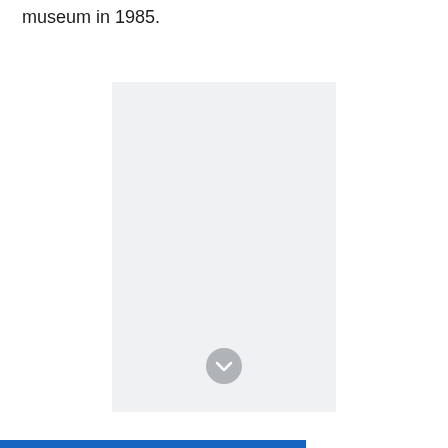museum in 1985.
[Figure (other): Large light gray placeholder rectangle representing an image, with a gray chevron-down circle button near the bottom center.]